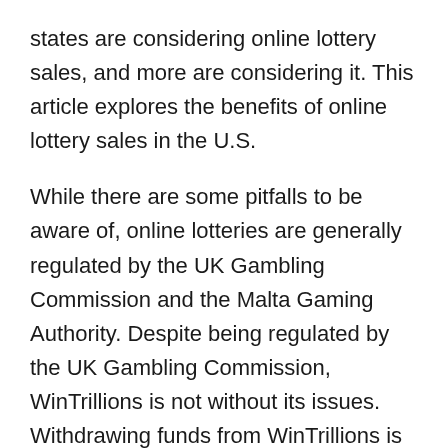states are considering online lottery sales, and more are considering it. This article explores the benefits of online lottery sales in the U.S.
While there are some pitfalls to be aware of, online lotteries are generally regulated by the UK Gambling Commission and the Malta Gaming Authority. Despite being regulated by the UK Gambling Commission, WinTrillions is not without its issues. Withdrawing funds from WinTrillions is difficult, and the company is sometimes unresponsive. In many instances, players are automatically billed for the next month's subscription. Nevertheless, WinTrillions has tons of promotions and accepts more than 32 different payment methods. In addition to being regulated by